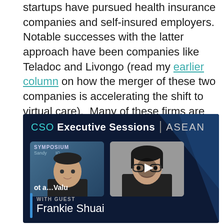startups have pursued health insurance companies and self-insured employers. Notable successes with the latter approach have been companies like Teladoc and Livongo (read my earlier column on how the merger of these two companies is accelerating the shift to virtual care).  Many of these firms are turning their focus now to healthcare providers.
[Figure (screenshot): CSO Executive Sessions ASEAN video thumbnail showing two panel thumbnails and guest Frankie Shuai]